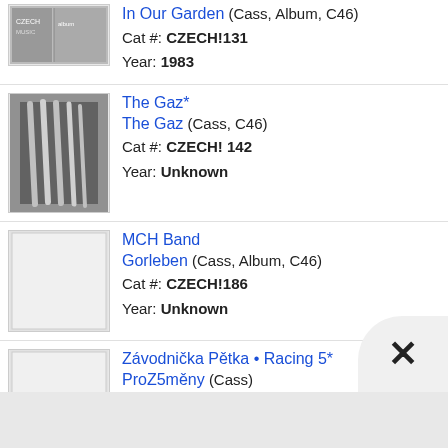In Our Garden (Cass, Album, C46)
Cat #: CZECH!131
Year: 1983
The Gaz*
The Gaz (Cass, C46)
Cat #: CZECH! 142
Year: Unknown
MCH Band
Gorleben (Cass, Album, C46)
Cat #: CZECH!186
Year: Unknown
Závodnička Pětka • Racing 5*
ProZ5měny (Cass)
Cat #: Czech! 197
Year: Unknown
Opera (4)
The Silence Of The Noise That Collapses (Cass, C46)